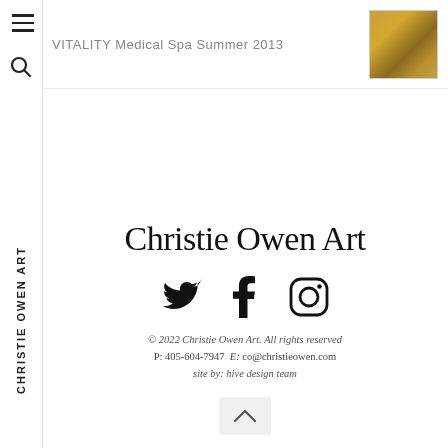VITALITY Medical Spa Summer 2013
Christie Owen Art
[Figure (illustration): Social media icons: Twitter bird, Facebook f, Instagram camera outline]
© 2022 Christie Owen Art. All rights reserved
P: 405-604-7947  E: co@christieowen.com
site by: hive design team
CHRISTIE OWEN ART